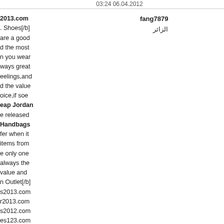03:24 06.04.2012
fang7879
الزائر
2013.com Shoes[/b] are a good d the most n you wear ways great eelings,and d the value oice,if soe eap Jordan e released Handbags fer when it items from e only one always the value and n Outlet[/b] s2013.com r2013.com s2012.com es123.com s2012.com s2013.com soutlet.net s-blog.com online.com s-blog.com shoes.com r-blog.com online.com online.com v2013.com s[/b]. Of[b] dan Shoes Rottweiler